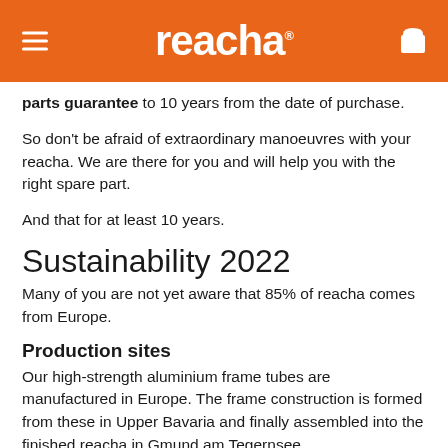reacha
parts guarantee to 10 years from the date of purchase.
So don't be afraid of extraordinary manoeuvres with your reacha. We are there for you and will help you with the right spare part.
And that for at least 10 years.
Sustainability 2022
Many of you are not yet aware that 85% of reacha comes from Europe.
Production sites
Our high-strength aluminium frame tubes are manufactured in Europe. The frame construction is formed from these in Upper Bavaria and finally assembled into the finished reacha in Gmund am Tegernsee.